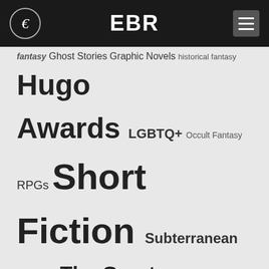EBR
fantasy Ghost Stories Graphic Novels historical fantasy Hugo Awards LGBTQ+ Occult Fantasy RPGs Short Fiction Subterranean Press The Great Self-published Fantasy Blog-off
RECENT COMMENTS
Jessica Flory on Project Hail Mary
I adored this book, and your comments are spot on!
Readers pretentions on Black Leopard, Red Wolf
I struggled through the first part of the book until I realized trying to make s...